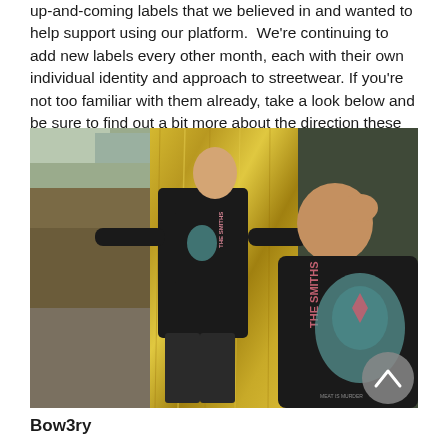up-and-coming labels that we believed in and wanted to help support using our platform.  We're continuing to add new labels every other month, each with their own individual identity and approach to streetwear. If you're not too familiar with them already, take a look below and be sure to find out a bit more about the direction these promising labels are heading in.
[Figure (photo): Two male models wearing black t-shirts with 'THE SMITHS' graphic print. Left model stands against a rocky outdoor background, right model is positioned in front of a gold/metallic crinkled background. Both shirts feature a teal and pink graphic design.]
Bow3ry